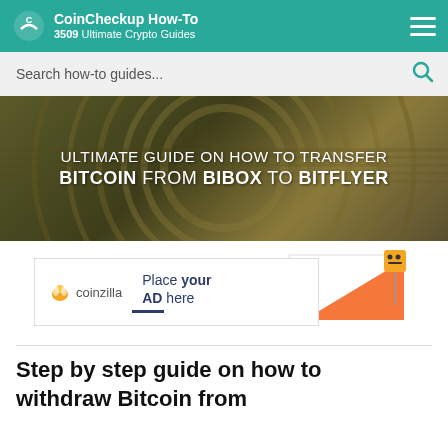CoinCheckup How-To — 3509 Ultimate Crypto Guides
Search how-to guides...
ULTIMATE GUIDE ON HOW TO TRANSFER BITCOIN FROM BIBOX TO BITFLYER
[Figure (illustration): Coinzilla advertisement placeholder: coinzilla logo with bee icon, text 'Place your AD here', orange triangle graphic with small character icon, all inside a bordered box]
Step by step guide on how to withdraw Bitcoin from